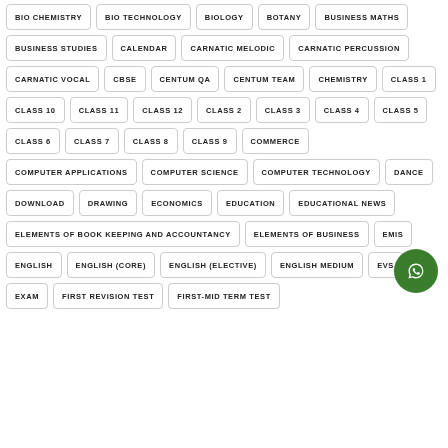BIO CHEMISTRY
BIO TECHNOLOGY
BIOLOGY
BOTANY
BUSINESS MATHS
BUSINESS STUDIES
CALENDAR
CARNATIC MELODIC
CARNATIC PERCUSSION
CARNATIC VOCAL
CBSE
CENTUM QA
CENTUM TEAM
CHEMISTRY
CLASS 1
CLASS 10
CLASS 11
CLASS 12
CLASS 2
CLASS 3
CLASS 4
CLASS 5
CLASS 6
CLASS 7
CLASS 8
CLASS 9
COMMERCE
COMPUTER APPLICATIONS
COMPUTER SCIENCE
COMPUTER TECHNOLOGY
DANCE
DOWNLOAD
DRAWING
ECONOMICS
EDUCATION
EDUCATIONAL NEWS
ELEMENTS OF BOOK KEEPING AND ACCOUNTANCY
ELEMENTS OF BUSINESS
EMIS
ENGLISH
ENGLISH (CORE)
ENGLISH (ELECTIVE)
ENGLISH MEDIUM
EVS
EXAM
FIRST REVISION TEST
FIRST-MID TERM TEST